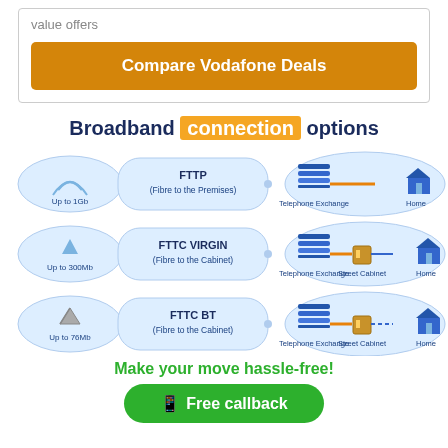value offers
Compare Vodafone Deals
Broadband connection options
[Figure (infographic): Broadband connection options diagram showing three rows: FTTP (Up to 1Gb) Fibre to the Premises with Telephone Exchange connected directly to Home via orange line; FTTC VIRGIN (Up to 300Mb) Fibre to the Cabinet with Telephone Exchange to Street Cabinet to Home; FTTC BT (Up to 76Mb) Fibre to the Cabinet with Telephone Exchange to Street Cabinet to Home via dashed line. Each row has speed/technology labels on left and network topology icons on right.]
Make your move hassle-free!
Free callback